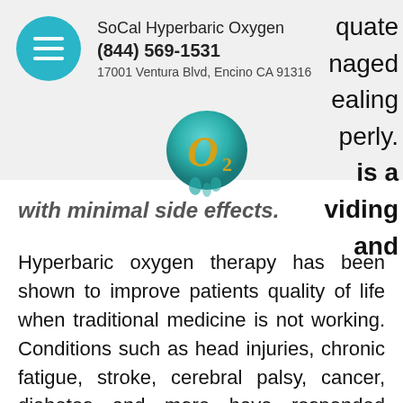[Figure (logo): SoCal Hyperbaric Oxygen logo - teal/green O2 bubble with gold lettering]
SoCal Hyperbaric Oxygen
(844) 569-1531
17001 Ventura Blvd, Encino CA 91316
with minimal side effects.
Hyperbaric oxygen therapy has been shown to improve patients quality of life when traditional medicine is not working. Conditions such as head injuries, chronic fatigue, stroke, cerebral palsy, cancer, diabetes and more have responded favorably to HBOT.
The following conditions are